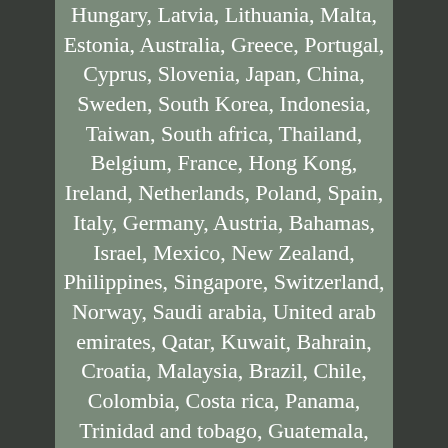Hungary, Latvia, Lithuania, Malta, Estonia, Australia, Greece, Portugal, Cyprus, Slovenia, Japan, China, Sweden, South Korea, Indonesia, Taiwan, South africa, Thailand, Belgium, France, Hong Kong, Ireland, Netherlands, Poland, Spain, Italy, Germany, Austria, Bahamas, Israel, Mexico, New Zealand, Philippines, Singapore, Switzerland, Norway, Saudi arabia, United arab emirates, Qatar, Kuwait, Bahrain, Croatia, Malaysia, Brazil, Chile, Colombia, Costa rica, Panama, Trinidad and tobago, Guatemala, Honduras, Jamaica, Antigua and barbuda, Aruba, Belize, Dominica, Grenada, Saint kitts and nevis, Saint lucia, Montserrat, Turks and caicos islands, Barbados, Bangladesh, Bermuda, Brunei darussalam, Bolivia, Ecuador, Egypt, French guiana, Guernsey, Gibraltar, Guadeloupe, Iceland, Jersey, Jordan, Cambodia, Cayman islands, Liechtenstein, Sri lanka, Luxembourg, Monaco, Macao, Martinique, Maldives, Nicaragua, Oman, Peru, Pakistan, Paraguay, Reunion, Viet nam, Uruguay,